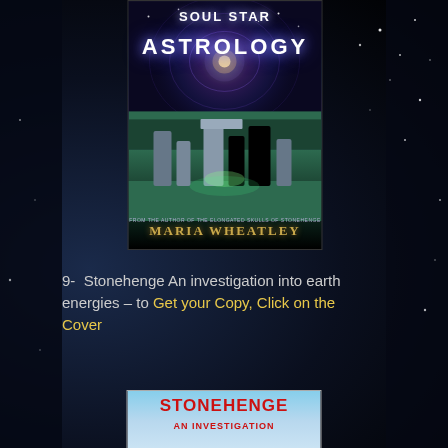[Figure (illustration): Book cover for 'Soul Star Astrology' by Maria Wheatley showing standing stones at night with cosmic spiral background]
9-  Stonehenge An investigation into earth energies – to Get your Copy, Click on the Cover
[Figure (illustration): Book cover for 'Stonehenge: An Investigation' with blue sky background]